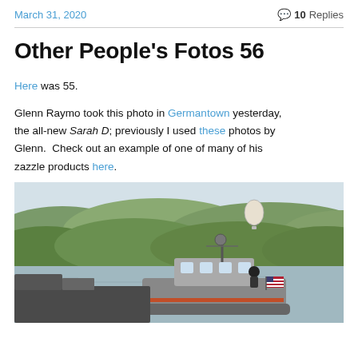March 31, 2020   💬 10 Replies
Other People's Fotos 56
Here was 55.
Glenn Raymo took this photo in Germantown yesterday, the all-new Sarah D; previously I used these photos by Glenn.  Check out an example of one of many of his zazzle products here.
[Figure (photo): A boat named Sarah D on a river with green forested hills in the background and an American flag visible on the stern. A hot air balloon is visible in the sky.]